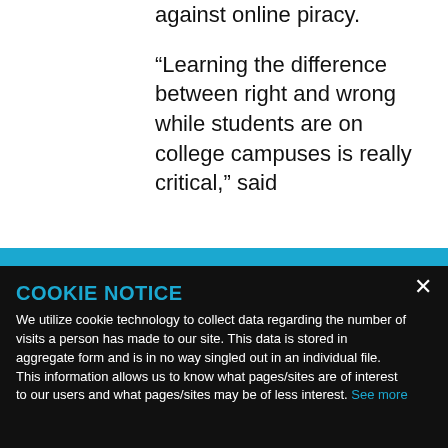against online piracy.
“Learning the difference between right and wrong while students are on college campuses is really critical,” said
COOKIE NOTICE
We utilize cookie technology to collect data regarding the number of visits a person has made to our site. This data is stored in aggregate form and is in no way singled out in an individual file. This information allows us to know what pages/sites are of interest to our users and what pages/sites may be of less interest. See more